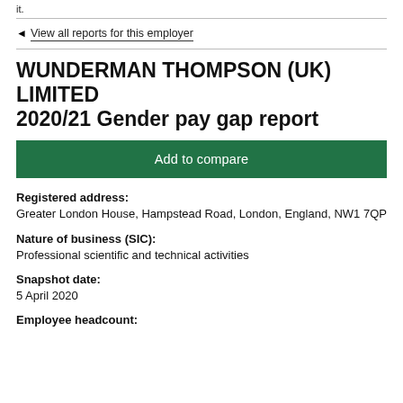it.
◄ View all reports for this employer
WUNDERMAN THOMPSON (UK) LIMITED
2020/21 Gender pay gap report
Add to compare
Registered address:
Greater London House, Hampstead Road, London, England, NW1 7QP
Nature of business (SIC):
Professional scientific and technical activities
Snapshot date:
5 April 2020
Employee headcount: